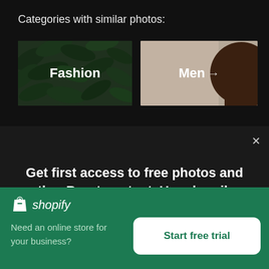Categories with similar photos:
[Figure (photo): Fashion category card with green leafy background and white bold text 'Fashion']
[Figure (photo): Men category card with beige/tan background, dark silhouette, white bold text 'Men' and arrow icon]
Get first access to free photos and other Burst content. Unsubscribe anytime.
[Figure (logo): Shopify logo: shopping bag icon and italic 'shopify' wordmark in white on green background]
Need an online store for your business?
Start free trial